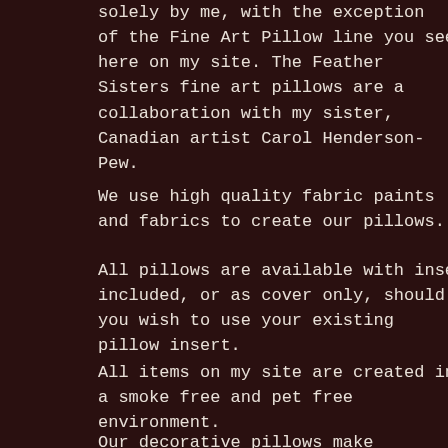solely by me, with the exception of the Fine Art Pillow line you see here on my site. The Feather Sisters fine art pillows are a collaboration with my sister, Canadian artist Carol Henderson-Pew.
We use high quality fabric paints and fabrics to create our pillows.
All pillows are available with insert included, or as cover only, should you wish to use your existing pillow insert.
All items on my site are created in a smoke free and pet free environment.
Our decorative pillows make